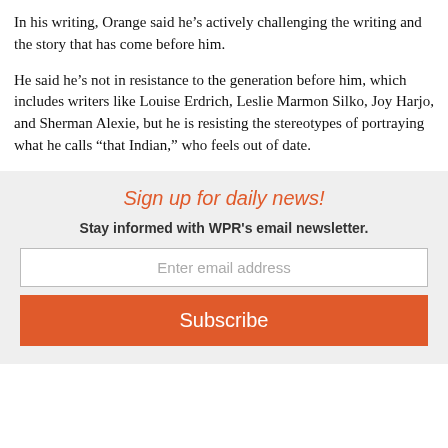In his writing, Orange said he’s actively challenging the writing and the story that has come before him.
He said he’s not in resistance to the generation before him, which includes writers like Louise Erdrich, Leslie Marmon Silko, Joy Harjo, and Sherman Alexie, but he is resisting the stereotypes of portraying what he calls "that Indian," who feels out of date.
Sign up for daily news!
Stay informed with WPR's email newsletter.
Enter email address
Subscribe